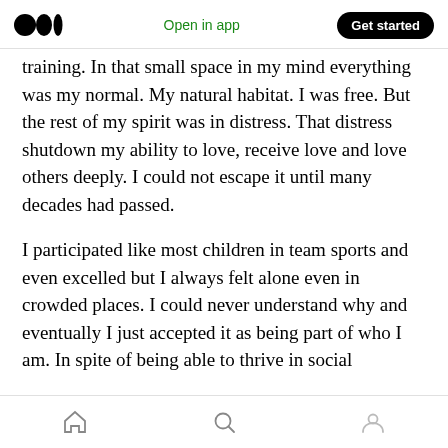Medium logo | Open in app | Get started
training. In that small space in my mind everything was my normal. My natural habitat. I was free. But the rest of my spirit was in distress. That distress shutdown my ability to love, receive love and love others deeply. I could not escape it until many decades had passed.
I participated like most children in team sports and even excelled but I always felt alone even in crowded places. I could never understand why and eventually I just accepted it as being part of who I am. In spite of being able to thrive in social
Home | Search | Profile